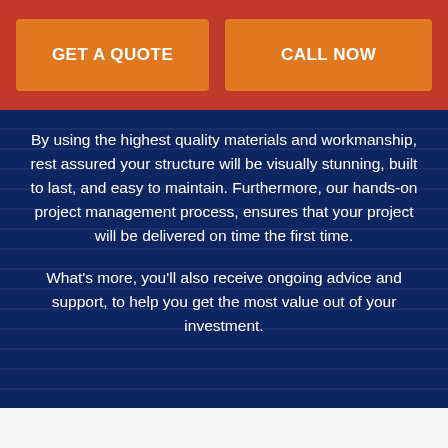[Figure (screenshot): Header bar with red background containing two orange CTA buttons: GET A QUOTE and CALL NOW]
By using the highest quality materials and workmanship, rest assured your structure will be visually stunning, built to last, and easy to maintain. Furthermore, our hands-on project management process, ensures that your project will be delivered on time the first time.
What's more, you'll also receive ongoing advice and support, to help you get the most value out of your investment.